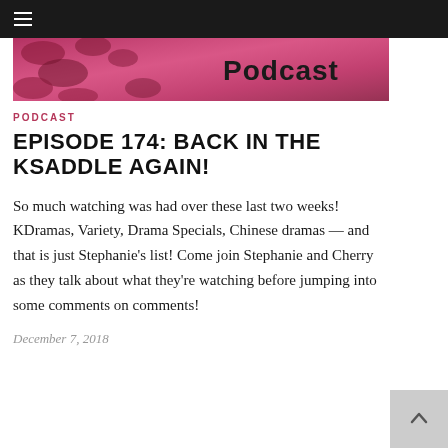Navigation bar with hamburger menu
[Figure (photo): Pink/magenta podcast banner image with decorative floral border and the word 'Podcast' in dark text]
PODCAST
EPISODE 174: BACK IN THE KSADDLE AGAIN!
So much watching was had over these last two weeks! KDramas, Variety, Drama Specials, Chinese dramas — and that is just Stephanie's list! Come join Stephanie and Cherry as they talk about what they're watching before jumping into some comments on comments!
December 7, 2018